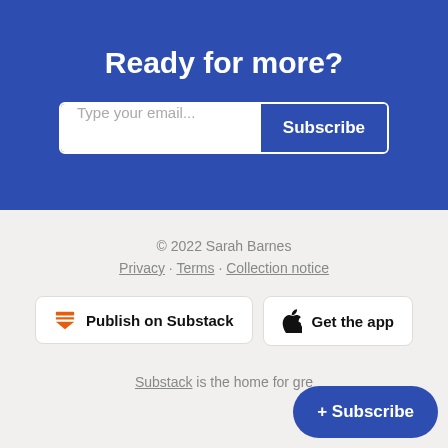Ready for more?
Type your email...
Subscribe
© 2022 Sarah Barnes
Privacy · Terms · Collection notice
Publish on Substack
Get the app
Substack is the home for gre
+ Subscribe